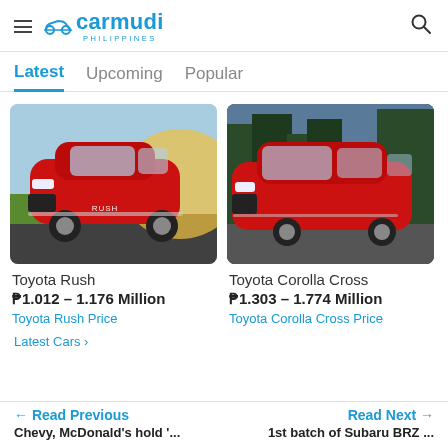carmudi PHILIPPINES
Latest  Upcoming  Popular
[Figure (photo): Red Toyota Rush SUV driving on a road with a bright yellow background, front three-quarter view]
Toyota Rush
₱1.012 - 1.176 Million
Toyota Rush Price
[Figure (photo): Red Toyota Corolla Cross SUV driving on a road with forest background, side three-quarter view]
Toyota Corolla Cross
₱1.303 - 1.774 Million
Toyota Corolla Cross Price
Latest Cars >
← Read Previous   Chevy, McDonald's hold '...        Read Next →   1st batch of Subaru BRZ ...